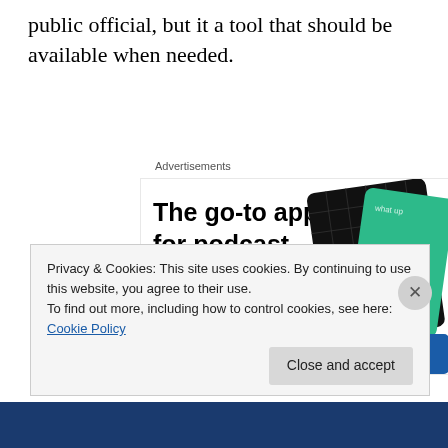public official, but it a tool that should be available when needed.
Advertisements
[Figure (illustration): Advertisement for a podcast app showing bold text 'The go-to app for podcast lovers.' with a red 'Download now' link and illustrated podcast app cards including a '99% Invisible' card on a black grid background and a green card.]
Privacy & Cookies: This site uses cookies. By continuing to use this website, you agree to their use.
To find out more, including how to control cookies, see here: Cookie Policy
Close and accept